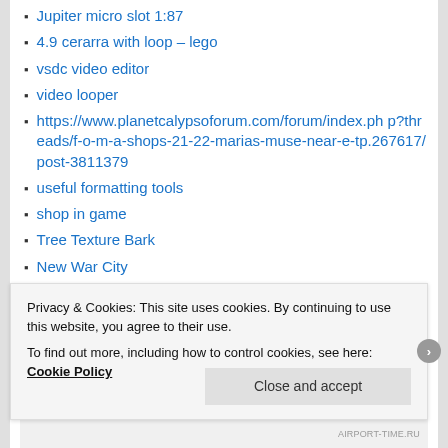Jupiter micro slot 1:87
4.9 cerarra with loop – lego
vsdc video editor
video looper
https://www.planetcalypsoforum.com/forum/index.php?threads/f-o-m-a-shops-21-22-marias-muse-near-e-tp.267617/post-3811379
useful formatting tools
shop in game
Tree Texture Bark
New War City
Cloudy Skies
Hot
Tree Study
Privacy & Cookies: This site uses cookies. By continuing to use this website, you agree to their use.
To find out more, including how to control cookies, see here: Cookie Policy
AIRPORT-TIME.RU